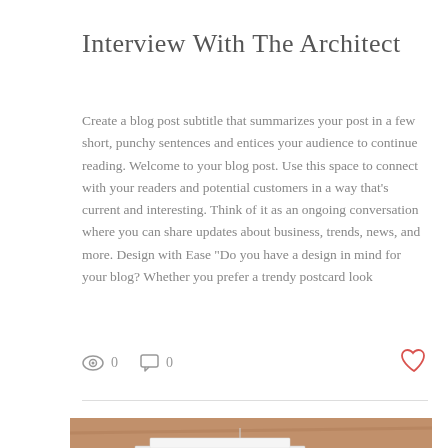Interview With The Architect
Create a blog post subtitle that summarizes your post in a few short, punchy sentences and entices your audience to continue reading. Welcome to your blog post. Use this space to connect with your readers and potential customers in a way that’s current and interesting. Think of it as an ongoing conversation where you can share updates about business, trends, news, and more. Design with Ease “Do you have a design in mind for your blog? Whether you prefer a trendy postcard look
[Figure (photo): Architectural model of a building on a wooden surface, showing white structural model with multiple floors and details, viewed from above at an angle.]